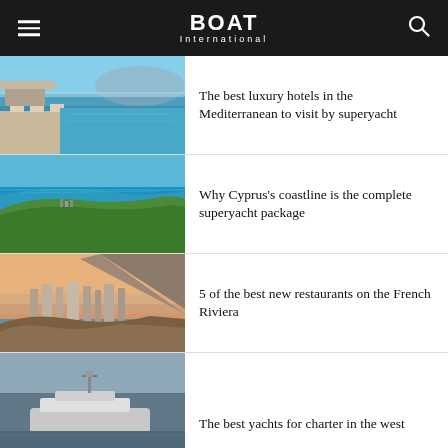BOAT International
The best luxury hotels in the Mediterranean to visit by superyacht
Why Cyprus's coastline is the complete superyacht package
5 of the best new restaurants on the French Riviera
The best yachts for charter in the west